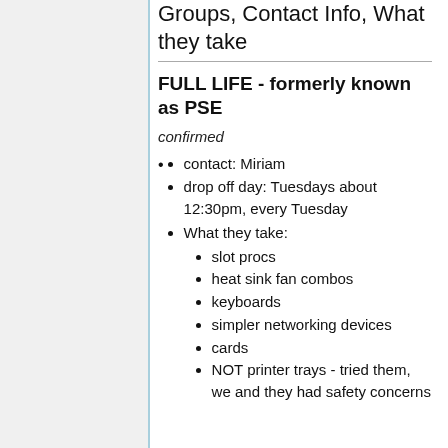Groups, Contact Info, What they take
FULL LIFE - formerly known as PSE
confirmed
contact: Miriam
drop off day: Tuesdays about 12:30pm, every Tuesday
What they take:
slot procs
heat sink fan combos
keyboards
simpler networking devices
cards
NOT printer trays - tried them, we and they had safety concerns